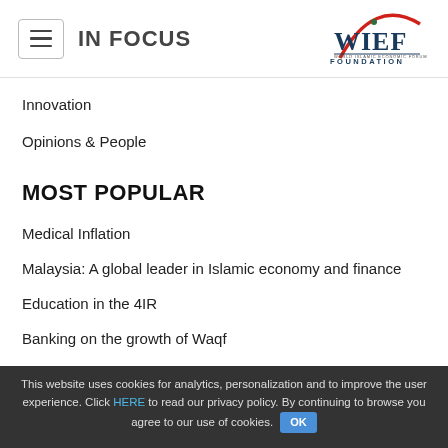IN FOCUS — WIEF Foundation
Innovation
Opinions & People
MOST POPULAR
Medical Inflation
Malaysia: A global leader in Islamic economy and finance
Education in the 4IR
Banking on the growth of Waqf
Sarawak has potential to be a major energy supplier
This website uses cookies for analytics, personalization and to improve the user experience. Click HERE to read our privacy policy. By continuing to browse you agree to our use of cookies. OK